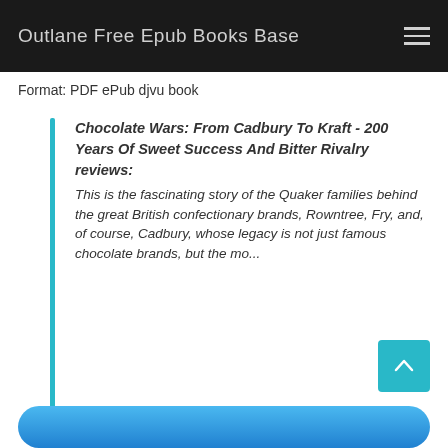Outlane Free Epub Books Base
Format: PDF ePub djvu book
Chocolate Wars: From Cadbury To Kraft - 200 Years Of Sweet Success And Bitter Rivalry reviews:
This is the fascinating story of the Quaker families behind the great British confectionary brands, Rowntree, Fry, and, of course, Cadbury, whose legacy is not just famous chocolate brands, but the mo...